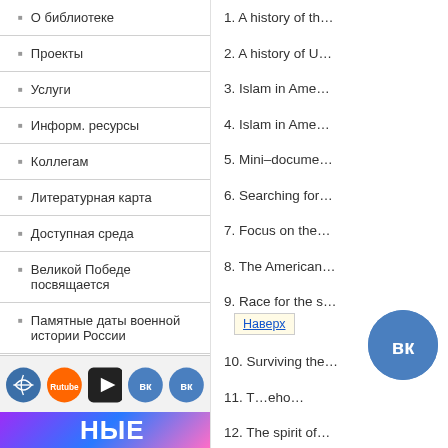О библиотеке
Проекты
Услуги
Информ. ресурсы
Коллегам
Литературная карта
Доступная среда
Великой Победе посвящается
Памятные даты военной истории России
Бесплатные доступы к ресурсам
Волонтеры культуры
1. A history of th…
2. A history of U…
3. Islam in Ame…
4. Islam in Ame…
5. Mini–docume…
6. Searching for…
7. Focus on the…
8. The American…
9. Race for the s…
10. Surviving the…
11. T…eho…
12. The spirit of…